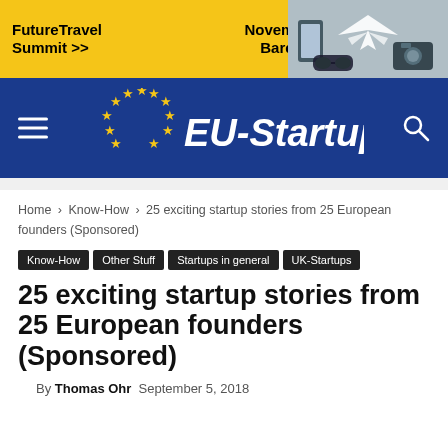[Figure (illustration): FutureTravel Summit advertisement banner in yellow with travel item images on right. Text reads 'FutureTravelSummit >> November 4th, Barcelona']
[Figure (logo): EU-Startups website navigation bar with blue background, hamburger menu icon on left, EU-Startups logo with yellow stars in center, and search icon on right]
Home › Know-How › 25 exciting startup stories from 25 European founders (Sponsored)
Know-How
Other Stuff
Startups in general
UK-Startups
25 exciting startup stories from 25 European founders (Sponsored)
By Thomas Ohr  September 5, 2018